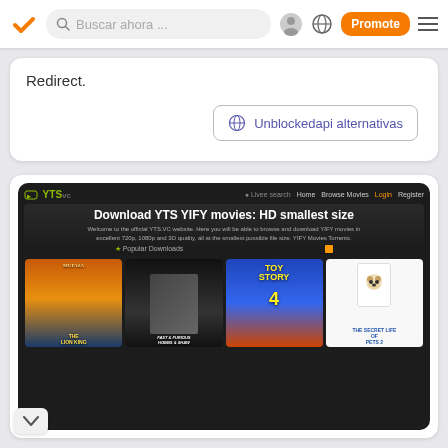[Figure (screenshot): Navigation bar with orange checkmark logo, search field reading 'Buscar ahora ...', user icon, globe icon, orange 'Promote' button, and hamburger menu icon]
Redirect.
[Figure (screenshot): Button/link with globe icon and text 'Unblockedapi alternativas']
[Figure (screenshot): YTS.vc website screenshot showing 'Download YTS YIFY movies: HD smallest size' hero text, Popular Downloads section with movie posters: The Lion King, Hobbs & Shaw, Toy Story 4, The Secret Life of Pets 2]